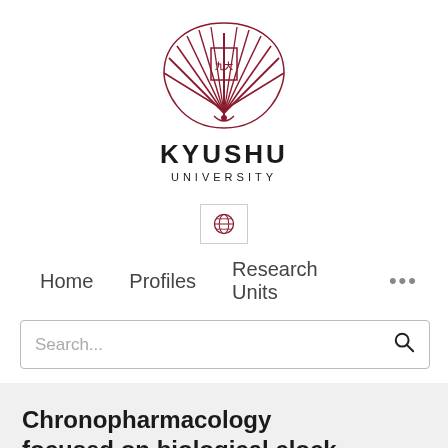[Figure (logo): Kyushu University logo — stylized dark red/maroon phoenix/fan emblem with radiating feathers and a central crest]
KYUSHU
UNIVERSITY
[Figure (other): Globe/language selector icon in a bordered button]
Home   Profiles   Research Units   ...
Search...
Chronopharmacology focused on biological clock.
Shigehiro Ohdo